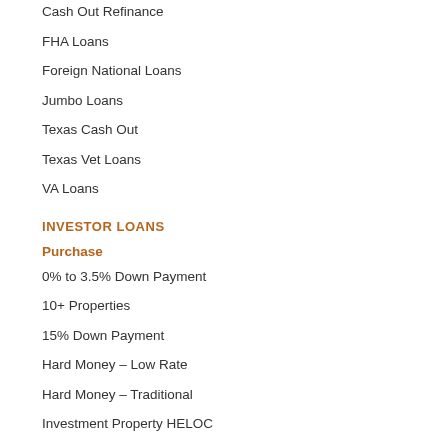Cash Out Refinance
FHA Loans
Foreign National Loans
Jumbo Loans
Texas Cash Out
Texas Vet Loans
VA Loans
INVESTOR LOANS
Purchase
0% to 3.5% Down Payment
10+ Properties
15% Down Payment
Hard Money – Low Rate
Hard Money – Traditional
Investment Property HELOC
Investor Purchase Loan